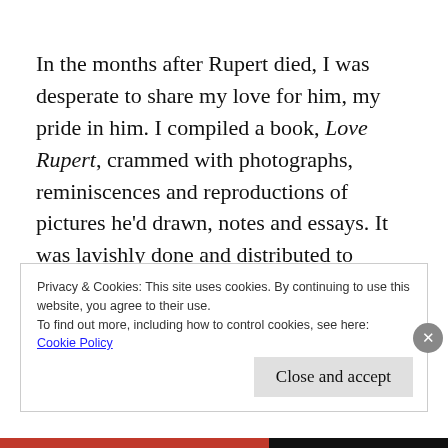In the months after Rupert died, I was desperate to share my love for him, my pride in him. I compiled a book, Love Rupert, crammed with photographs, reminiscences and reproductions of pictures he'd drawn, notes and essays. It was lavishly done and distributed to anyone I thought might appreciate it. Similarly, there were a series of videos, cut to
Privacy & Cookies: This site uses cookies. By continuing to use this website, you agree to their use.
To find out more, including how to control cookies, see here:
Cookie Policy
Close and accept